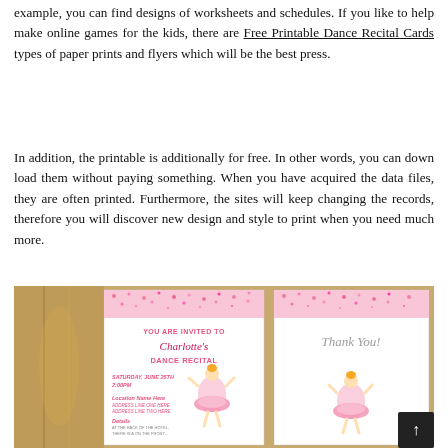example, you can find designs of worksheets and schedules. If you like to help make online games for the kids, there are Free Printable Dance Recital Cards types of paper prints and flyers which will be the best press.
In addition, the printable is additionally for free. In other words, you can down load them without paying something. When you have acquired the data files, they are often printed. Furthermore, the sites will keep changing the records, therefore you will discover new design and style to print when you need much more.
[Figure (photo): Photo showing two dance recital cards/invitations: one pink glitter invitation reading 'YOU ARE INVITED TO Charlotte's DANCE RECITAL' with a ballerina illustration, and a 'Thank You!' card also with a ballerina, both featuring pink glitter borders and ballerina graphics.]